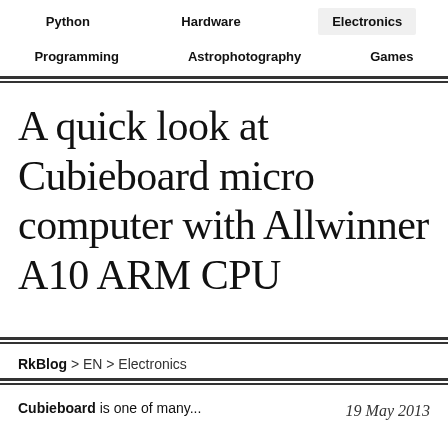Python | Hardware | Electronics | Programming | Astrophotography | Games
A quick look at Cubieboard micro computer with Allwinner A10 ARM CPU
RkBlog > EN > Electronics
Cubieboard is one of many... 19 May 2013